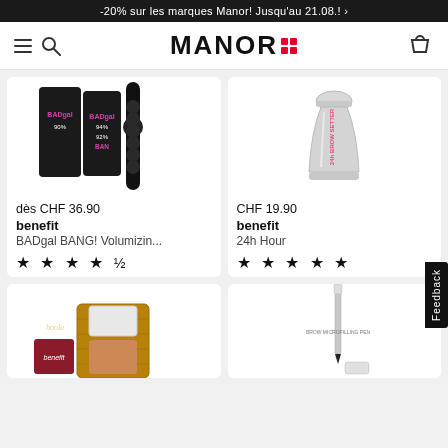-20% sur les marques Manor! Jusqu'au 21.08.! ›
[Figure (screenshot): Manor website header with hamburger+search icon on left, MANOR logo with red grid dots in center, shopping bag icon on right]
[Figure (photo): benefit BADgal BANG! Volumizing mascara product set on white background]
[Figure (photo): benefit 24h Hour product (glass-shaped bottle) on white background]
dès CHF 36.90
benefit
BADgal BANG! Volumizin...
★ ★ ★ ★ ☆
CHF 19.90
benefit
24h Hour
★ ★ ★ ★ ★
[Figure (photo): benefit hoola bronzer in bamboo-style box, open, on white background]
[Figure (photo): benefit brow pencil product on white background]